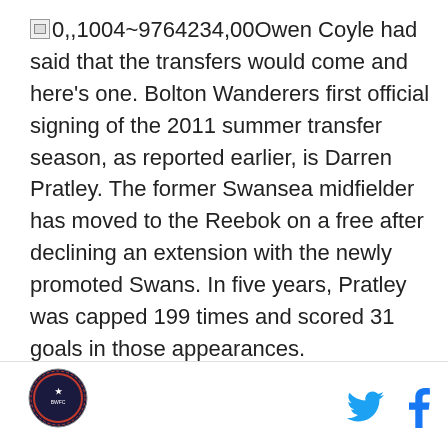0,,1004~9764234,00Owen Coyle had said that the transfers would come and here's one. Bolton Wanderers first official signing of the 2011 summer transfer season, as reported earlier, is Darren Pratley. The former Swansea midfielder has moved to the Reebok on a free after declining an extension with the newly promoted Swans. In five years, Pratley was capped 199 times and scored 31 goals in those appearances.
[Figure (logo): Circular logo/emblem in footer, left side]
[Figure (logo): Twitter bird icon and Facebook f icon in footer, right side]